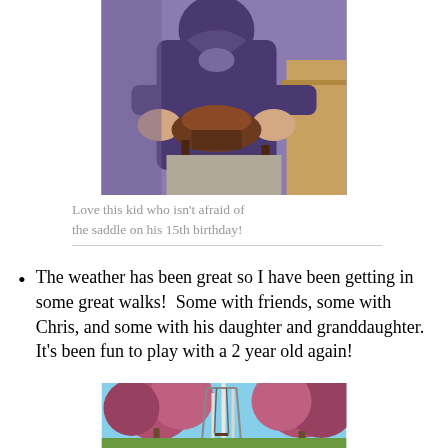[Figure (photo): Person in purple hoodie holding a saddle, sitting indoors near wooden furniture]
Love this kid who isn't afraid of the saddle on his 15th birthday!
The weather has been great so I have been getting in some great walks!  Some with friends, some with Chris, and some with his daughter and granddaughter.  It's been fun to play with a 2 year old again!
[Figure (photo): Outdoor scene with blooming pink/red trees and a swing set, blue sky visible]